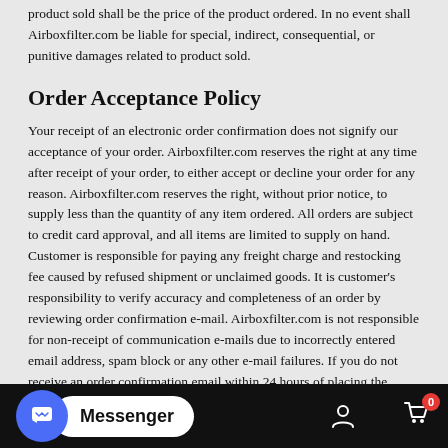product sold shall be the price of the product ordered. In no event shall Airboxfilter.com be liable for special, indirect, consequential, or punitive damages related to product sold.
Order Acceptance Policy
Your receipt of an electronic order confirmation does not signify our acceptance of your order. Airboxfilter.com reserves the right at any time after receipt of your order, to either accept or decline your order for any reason. Airboxfilter.com reserves the right, without prior notice, to supply less than the quantity of any item ordered. All orders are subject to credit card approval, and all items are limited to supply on hand. Customer is responsible for paying any freight charge and restocking fee caused by refused shipment or unclaimed goods. It is customer’s responsibility to verify accuracy and completeness of an order by reviewing order confirmation e-mail. Airboxfilter.com is not responsible for non-receipt of communication e-mails due to incorrectly entered email address, spam block or any other e-mail failures. If you do not receive an order confirmation email within 24 hours of placing the order, please contact our customer service to make us aware
Messenger [toolbar with chat, user, cart icons]